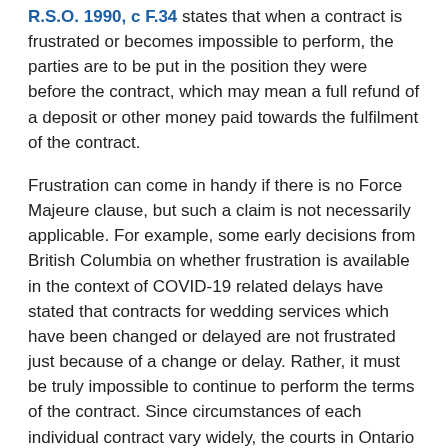R.S.O. 1990, c F.34 states that when a contract is frustrated or becomes impossible to perform, the parties are to be put in the position they were before the contract, which may mean a full refund of a deposit or other money paid towards the fulfilment of the contract.
Frustration can come in handy if there is no Force Majeure clause, but such a claim is not necessarily applicable. For example, some early decisions from British Columbia on whether frustration is available in the context of COVID-19 related delays have stated that contracts for wedding services which have been changed or delayed are not frustrated just because of a change or delay. Rather, it must be truly impossible to continue to perform the terms of the contract. Since circumstances of each individual contract vary widely, the courts in Ontario may come to different conclusions on different facts.
Consumer Protection Legislation